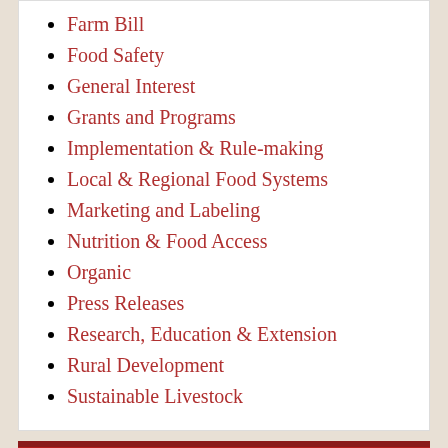Farm Bill
Food Safety
General Interest
Grants and Programs
Implementation & Rule-making
Local & Regional Food Systems
Marketing and Labeling
Nutrition & Food Access
Organic
Press Releases
Research, Education & Extension
Rural Development
Sustainable Livestock
TAKE ACTION — WHAT'S HAPPENING RIGHT NOW »
[Figure (other): Social media icons for Facebook, Twitter, and RSS]